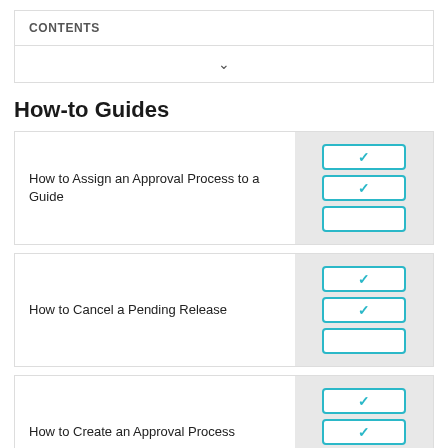CONTENTS
How-to Guides
How to Assign an Approval Process to a Guide
How to Cancel a Pending Release
How to Create an Approval Process